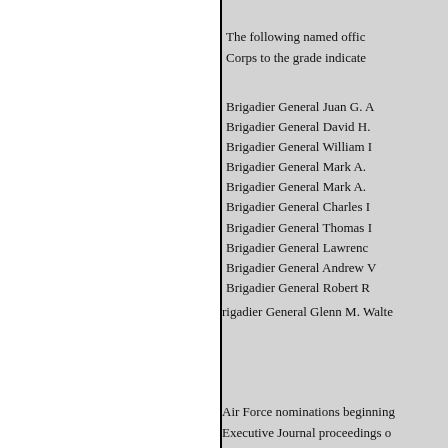IN THE
The following named offic Corps to the grade indicated
To be major
Brigadier General Juan G. A
Brigadier General David H.
Brigadier General William
Brigadier General Mark A.
Brigadier General Mark A.
Brigadier General Charles
Brigadier General Thomas
Brigadier General Lawrence
Brigadier General Andrew
Brigadier General Robert R
rigadier General Glenn M. Walte
Air Force nominations beginning Executive Journal proceedings o
Air Force nominations beginning Journal proceedings of February